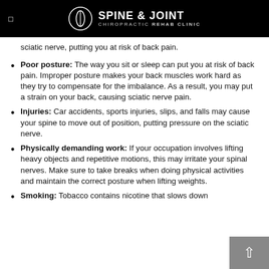SPINE & JOINT CHIROPRACTIC REHAB CLINIC
sciatic nerve, putting you at risk of back pain.
Poor posture: The way you sit or sleep can put you at risk of back pain. Improper posture makes your back muscles work hard as they try to compensate for the imbalance. As a result, you may put a strain on your back, causing sciatic nerve pain.
Injuries: Car accidents, sports injuries, slips, and falls may cause your spine to move out of position, putting pressure on the sciatic nerve.
Physically demanding work: If your occupation involves lifting heavy objects and repetitive motions, this may irritate your spinal nerves. Make sure to take breaks when doing physical activities and maintain the correct posture when lifting weights.
Smoking: Tobacco contains nicotine that slows down